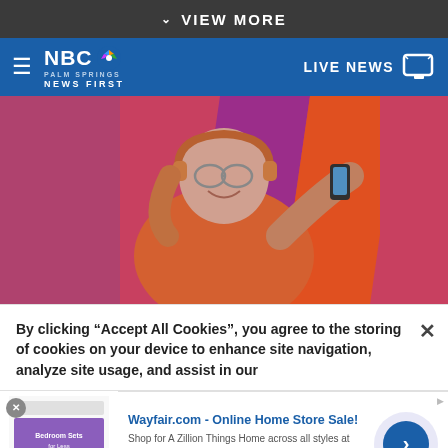VIEW MORE
NBC PALM SPRINGS NEWS FIRST  LIVE NEWS
[Figure (photo): Person wearing headphones and glasses, smiling, with arms raised, in orange hoodie against colorful pink/orange/purple background.]
By clicking “Accept All Cookies”, you agree to the storing of cookies on your device to enhance site navigation, analyze site usage, and assist in our
Wayfair.com - Online Home Store Sale! Shop for A Zillion Things Home across all styles at Wayfair! www.wayfair.com